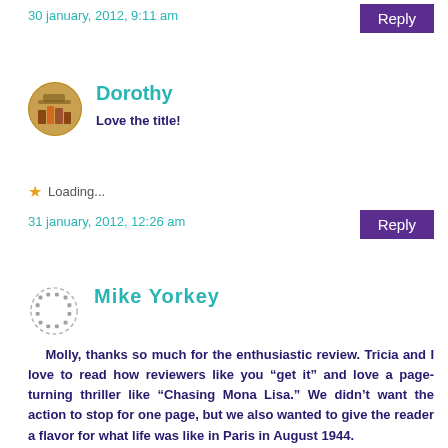30 january, 2012, 9:11 am
Reply
Dorothy
Love the title!
Loading...
31 january, 2012, 12:26 am
Reply
Mike Yorkey
Molly, thanks so much for the enthusiastic review. Tricia and I love to read how reviewers like you “get it” and love a page-turning thriller like “Chasing Mona Lisa.” We didn’t want the action to stop for one page, but we also wanted to give the reader a flavor for what life was like in Paris in August 1944.